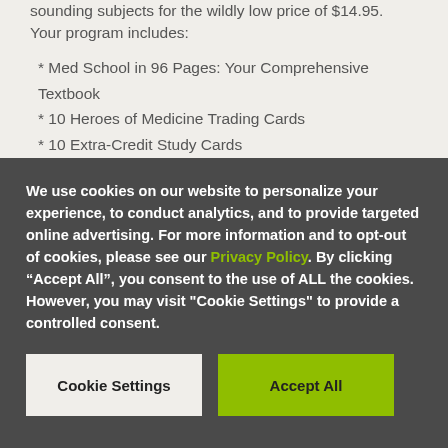sounding subjects for the wildly low price of $14.95. Your program includes:
* Med School in 96 Pages: Your Comprehensive Textbook
* 10 Heroes of Medicine Trading Cards
* 10 Extra-Credit Study Cards
* A devilishly complicated medical-trivia board exam
* A rolled diploma with real Latin words
We use cookies on our website to personalize your experience, to conduct analytics, and to provide targeted online advertising. For more information and to opt-out of cookies, please see our Privacy Policy. By clicking “Accept All”, you consent to the use of ALL the cookies. However, you may visit "Cookie Settings" to provide a controlled consent.